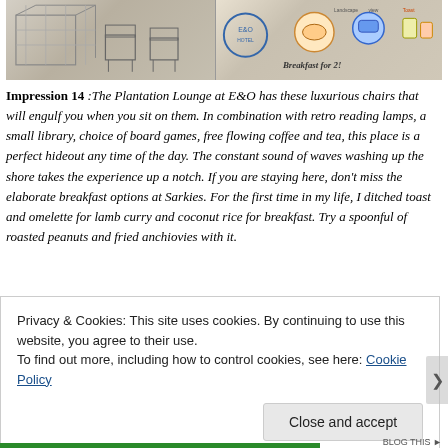[Figure (illustration): Sketch/illustration strip at top of page showing on the left a pencil sketch of furniture (chairs, shelving) and on the right colorful sketches of food/breakfast items with text 'Breakfast for 2!']
Impression 14 :The Plantation Lounge at E&O has these luxurious chairs that will engulf you when you sit on them. In combination with retro reading lamps, a small library, choice of board games, free flowing coffee and tea, this place is a perfect hideout any time of the day. The constant sound of waves washing up the shore takes the experience up a notch.  If you are staying here, don't miss the elaborate breakfast options at Sarkies. For the first time in my life, I ditched toast and omelette for lamb curry and coconut rice for breakfast. Try a spoonful of roasted peanuts and fried anchiovies with it.
Privacy & Cookies: This site uses cookies. By continuing to use this website, you agree to their use.
To find out more, including how to control cookies, see here: Cookie Policy
Close and accept